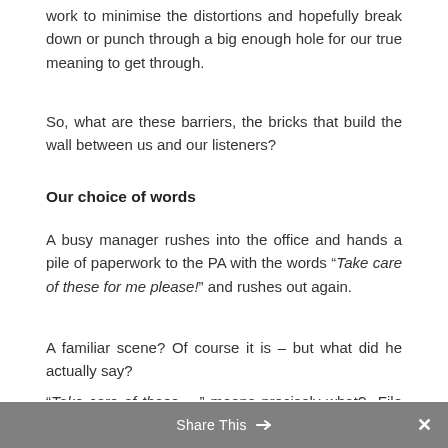work to minimise the distortions and hopefully break down or punch through a big enough hole for our true meaning to get through.
So, what are these barriers, the bricks that build the wall between us and our listeners?
Our choice of words
A busy manager rushes into the office and hands a pile of paperwork to the PA with the words “Take care of these for me please!” and rushes out again.
A familiar scene? Of course it is – but what did he actually say?
“Take care of these …” means precisely what? File them? Send an email? Wrap them up in cotton wool?
Share This